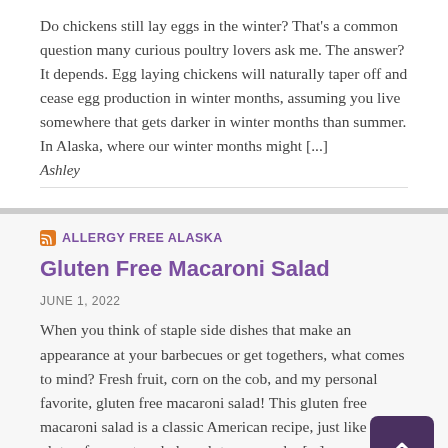Do chickens still lay eggs in the winter? That's a common question many curious poultry lovers ask me. The answer? It depends. Egg laying chickens will naturally taper off and cease egg production in winter months, assuming you live somewhere that gets darker in winter months than summer. In Alaska, where our winter months might [...]
Ashley
ALLERGY FREE ALASKA
Gluten Free Macaroni Salad
JUNE 1, 2022
When you think of staple side dishes that make an appearance at your barbecues or get togethers, what comes to mind? Fresh fruit, corn on the cob, and my personal favorite, gluten free macaroni salad! This gluten free macaroni salad is a classic American recipe, just like gluten-free pasta salad or glute mac and... [...]
Mēgan